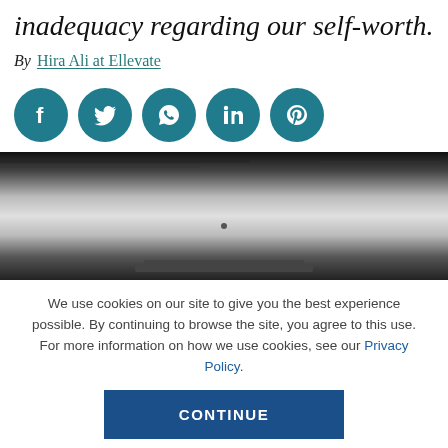inadequacy regarding our self-worth.
By Hira Ali at Ellevate
[Figure (infographic): Row of five teal social media sharing icons: Facebook, Twitter, WhatsApp, LinkedIn, Pinterest]
[Figure (photo): Blurred black and white abstract photo, likely a motion-blurred vehicle or road scene]
We use cookies on our site to give you the best experience possible. By continuing to browse the site, you agree to this use. For more information on how we use cookies, see our Privacy Policy.
CONTINUE